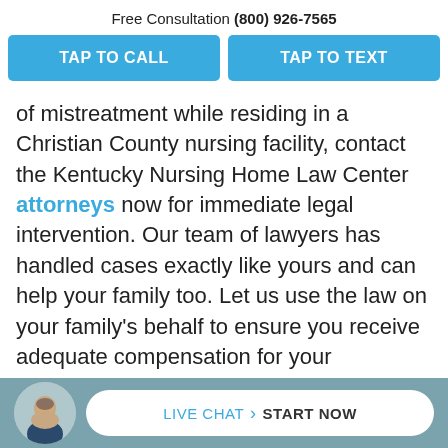Free Consultation (800) 926-7565
TAP TO CALL | TAP TO TEXT
of mistreatment while residing in a Christian County nursing facility, contact the Kentucky Nursing Home Law Center attorneys now for immediate legal intervention. Our team of lawyers has handled cases exactly like yours and can help your family too. Let us use the law on your family's behalf to ensure you receive adequate compensation for your damages. We can ensure that those responsible for the harm are held and legally accountable.
[Figure (photo): Headshot of a bald man in a suit jacket, circular avatar in the bottom bar]
LIVE CHAT > START NOW